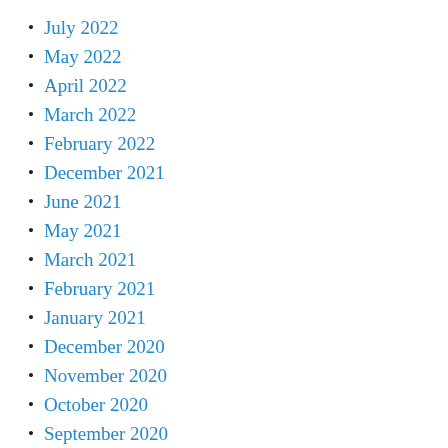July 2022
May 2022
April 2022
March 2022
February 2022
December 2021
June 2021
May 2021
March 2021
February 2021
January 2021
December 2020
November 2020
October 2020
September 2020